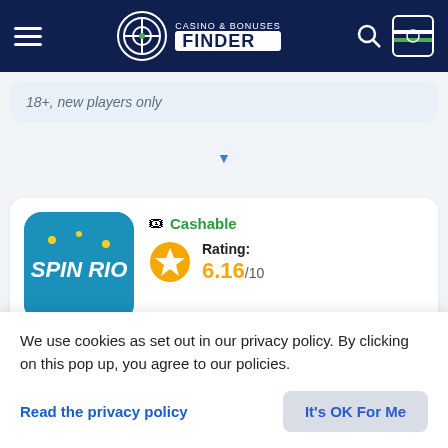Casino & Bonuses Finder
18+, new players only
[Figure (screenshot): Dropdown selector element with blue triangle arrow]
[Figure (logo): Spin Rio casino logo - teal/blue rounded square with Spin Rio text]
Cashable
Rating: 6.16/10
Available for players from Sierra Leone
We use cookies as set out in our privacy policy. By clicking on this pop up, you agree to our policies.
Read the privacy policy
It's OK For Me